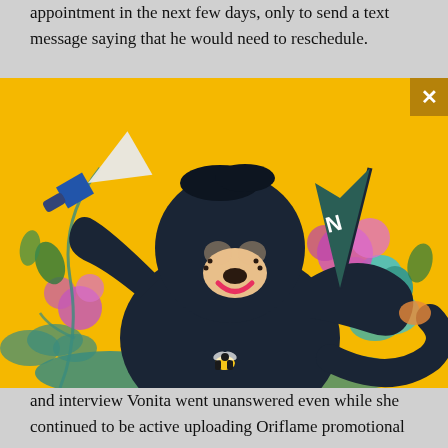appointment in the next few days, only to send a text message saying that he would need to reschedule.
[Figure (illustration): Colorful illustration on a yellow background featuring a cartoon bear/monkey character with black fur holding a megaphone in one hand, with a flag marked 'N', surrounded by colorful flowers, clouds, and a small bee at the bottom.]
and interview Vonita went unanswered even while she continued to be active uploading Oriflame promotional